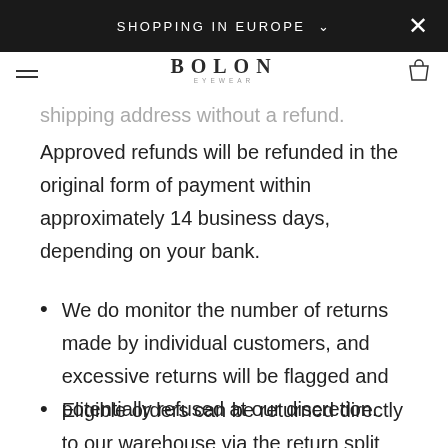SHOPPING IN EUROPE ∨
shipping address without a refund.
Approved refunds will be refunded in the original form of payment within approximately 14 business days, depending on your bank.
We do monitor the number of returns made by individual customers, and excessive returns will be flagged and potentially refused at our discretion.
Eligible orders can be returned directly to our warehouse via the return split upon request.
Please note that it is mandatory that you